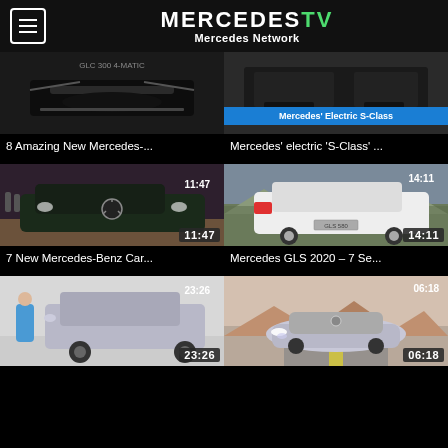MERCEDESTVTV — Mercedes Network
[Figure (screenshot): Video thumbnail: front grille of a dark Mercedes-Benz car]
[Figure (screenshot): Video thumbnail: Mercedes Electric S-Class with blue banner overlay]
8 Amazing New Mercedes-...
Mercedes' electric 'S-Class' ...
[Figure (screenshot): Video thumbnail: Dark green Mercedes-Benz C-Class Coupe at an event, duration 11:47]
[Figure (screenshot): Video thumbnail: White Mercedes-Benz GLS SUV rear view on mountain road, duration 14:11]
7 New Mercedes-Benz Car...
Mercedes GLS 2020 – 7 Se...
[Figure (screenshot): Video thumbnail: Man standing next to silver Mercedes-Benz SUV indoors, duration 23:26]
[Figure (screenshot): Video thumbnail: Futuristic Mercedes-Benz concept car on desert road, duration 06:18]